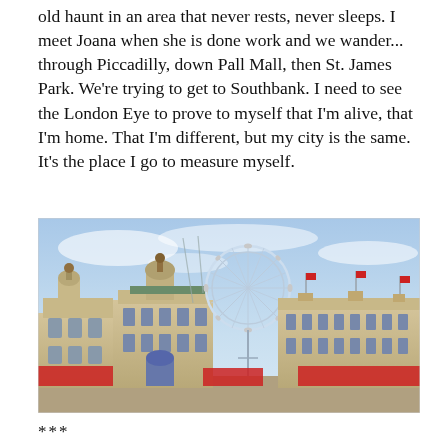old haunt in an area that never rests, never sleeps. I meet Joana when she is done work and we wander... through Piccadilly, down Pall Mall, then St. James Park. We're trying to get to Southbank. I need to see the London Eye to prove to myself that I'm alive, that I'm home. That I'm different, but my city is the same. It's the place I go to measure myself.
[Figure (photo): A photograph of Horse Guards Parade in London with the London Eye visible in the background. Classical stone buildings occupy the foreground and middle ground under a blue sky with light clouds. Red structures are visible at the base of the buildings.]
***